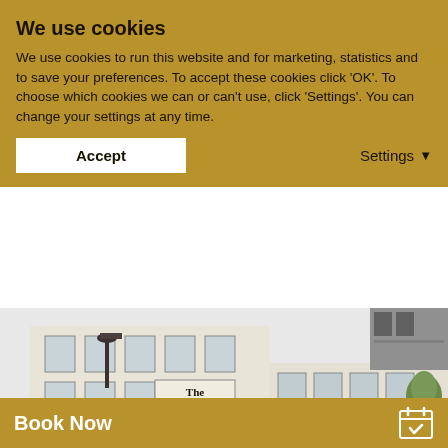We use cookies
We use cookies to run this website and for marketing, statistics and to save your preferences. To accept these cookies click 'OK'. To choose which cookies we can or can't use, click 'Settings'. You can change your settings at any time.
Accept
Settings
[Figure (photo): Exterior photograph of The Lamb hotel building, a cream/white painted multi-storey building on a town street corner, with a church tower visible in the background on the right side.]
Dating back to the time of King Richard II, Lamb Hotel is
Book Now